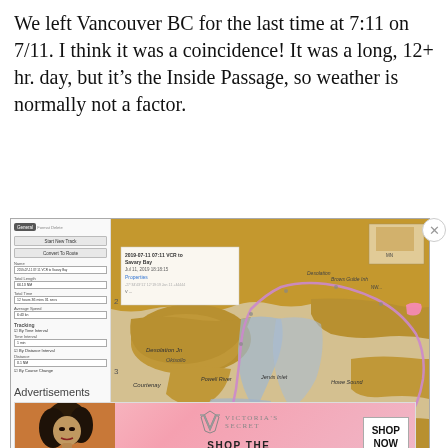We left Vancouver BC for the last time at 7:11 on 7/11. I think it was a coincidence! It was a long, 12+ hr. day, but it's the Inside Passage, so weather is normally not a factor.
[Figure (screenshot): Navigation software screenshot showing a GPS track from VCR to Savary Bay on 2019-07-11. Left panel shows track properties including name '2019-07-11 07:11 VCR to Savary Bay', total length 66.13 NM, total time 12 hours 30 mins 31 sec, average speed 6:40 kn, tracking options. Right panel shows a nautical chart map of the Inside Passage with the route plotted in purple/pink, land masses in golden/brown, water areas in light blue/tan.]
Advertisements
[Figure (photo): Victoria's Secret advertisement banner showing a woman model on the left, the VS logo and 'SHOP THE COLLECTION' text in center, and a 'SHOP NOW' button on the right, with a pink gradient background.]